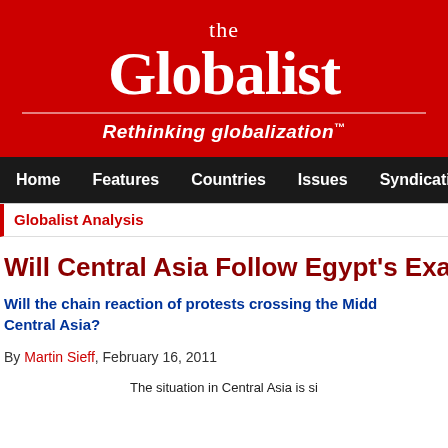the Globalist — Rethinking globalization™
Home | Features | Countries | Issues | Syndication | In the
Globalist Analysis
Will Central Asia Follow Egypt's Exa
Will the chain reaction of protests crossing the Midd Central Asia?
By Martin Sieff, February 16, 2011
The situation in Central Asia is si